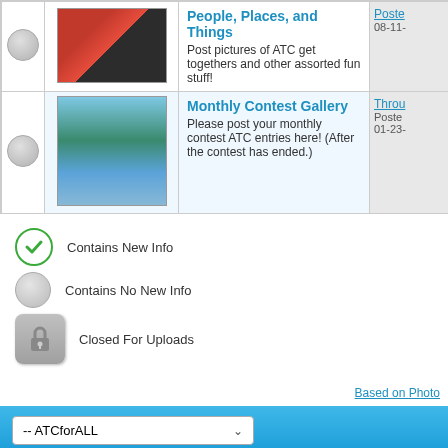|  | Thumbnail | Forum | Last Post |
| --- | --- | --- | --- |
|  | [image] | People, Places, and Things
Post pictures of ATC get togethers and other assorted fun stuff! | Posted
08-11- |
|  | [image] | Monthly Contest Gallery
Please post your monthly contest ATC entries here! (After the contest has ended.) | Throu...
Posted
01-23- |
Contains New Info
Contains No New Info
Closed For Uploads
Based on Photo
-- ATCforALL
All times are GMT -4. T
Powered by vBull
Copyright © 2022 vBulletin So